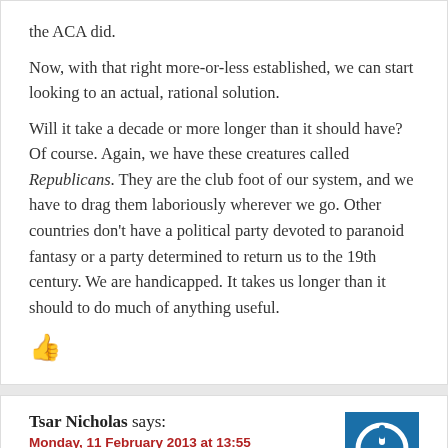the ACA did.
Now, with that right more-or-less established, we can start looking to an actual, rational solution.
Will it take a decade or more longer than it should have? Of course. Again, we have these creatures called Republicans. They are the club foot of our system, and we have to drag them laboriously wherever we go. Other countries don't have a political party devoted to paranoid fantasy or a party determined to return us to the 19th century. We are handicapped. It takes us longer than it should to do much of anything useful.
[Figure (other): Red thumbs up icon]
Tsar Nicholas says:
Monday, 11 February 2013 at 13:55
[Figure (logo): Blue square with white power button icon - user avatar]
Cute headline. The other way to have headlined